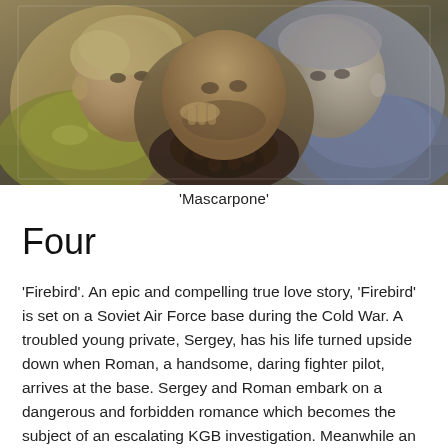[Figure (photo): Three young people lying down together, heads close, one wearing a yellow floral shirt, one with curly hair in the center, one on the right in a denim jacket. Muted, warm-toned photograph.]
'Mascarpone'
Four
'Firebird'. An epic and compelling true love story, 'Firebird' is set on a Soviet Air Force base during the Cold War. A troubled young private, Sergey, has his life turned upside down when Roman, a handsome, daring fighter pilot, arrives at the base. Sergey and Roman embark on a dangerous and forbidden romance which becomes the subject of an escalating KGB investigation. Meanwhile an intense love triangle is forming between them and the Base